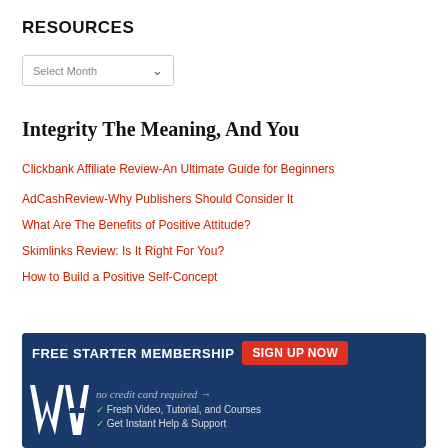RESOURCES
[Figure (screenshot): A dropdown widget showing 'Select Month' with a down-arrow chevron, bordered box style]
Integrity The Meaning, And You
Clickbank Affiliate Review-An Ultimate Guide for Beginners
AdCashReview-Why Publishers Should Consider It
What Are The Benefits of Positive Attitude?
Skimlinks Review: Is It Right For You?
How to Build a Positive Self-Concept
[Figure (infographic): Banner ad for Free Starter Membership with 'SIGN UP NOW' button in red, logo letters 'WA', text 'no credit card required', 'Fresh Video, Tutorial, and Courses', 'Get Instant Help & Support' on dark blue background]